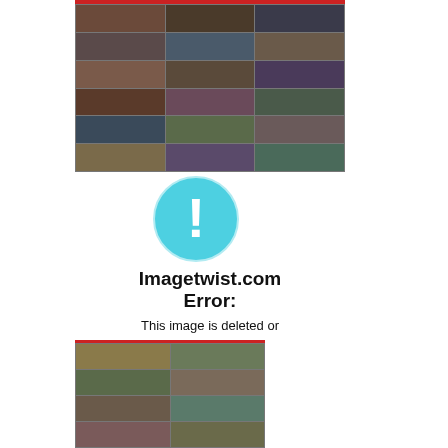[Figure (photo): Grid of small thumbnail images arranged in rows and columns, showing a collage of photographs with a red header bar at top.]
[Figure (illustration): Cyan/light blue circle with a white exclamation mark inside, serving as an error/warning icon.]
Imagetwist.com
Error:
This image is deleted or moved from our servers.
[Figure (photo): Grid of small thumbnail images arranged in rows and columns, with a red header bar at top.]